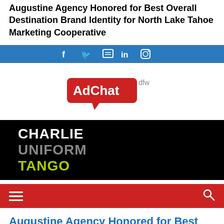Augustine Agency Honored for Best Overall Destination Brand Identity for North Lake Tahoe Marketing Cooperative
[Figure (infographic): Blue social media bar with icons for Facebook, Twitter, a community/forum icon, LinkedIn, and Instagram]
[Figure (logo): AdChat DFW logo — red speech bubble with white text 'AdChat' and grey 'dfw' superscript]
[Figure (logo): Charlie Uniform Tango logo on black background — CHARLIE in white, UNIFORM in grey, TANGO in yellow-green]
[Figure (screenshot): Red navigation bar with hamburger menu icon on left and search icon on right]
Augustine Agency Honored for Best Overall Destination Brand